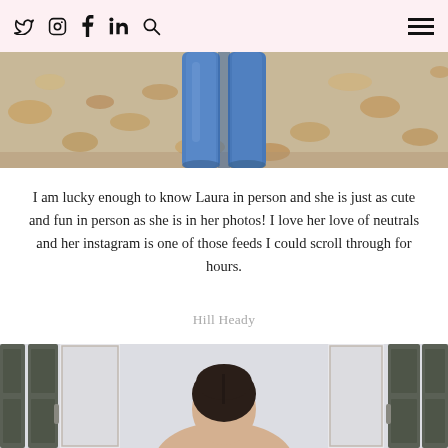social icons: twitter, instagram, facebook, linkedin, search; hamburger menu
[Figure (photo): Bottom half of a person standing in autumn leaves, wearing blue jeans]
I am lucky enough to know Laura in person and she is just as cute and fun in person as she is in her photos! I love her love of neutrals and her instagram is one of those feeds I could scroll through for hours.
Hill Heady
[Figure (photo): Woman standing outdoors in front of a house with shutters, seen from the shoulders up]